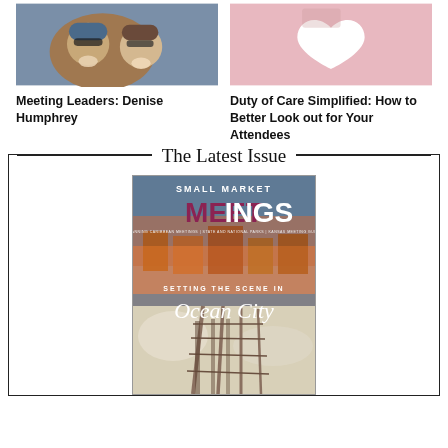[Figure (photo): Two smiling people wearing winter gear (hats, sunglasses) outdoors in a crowd]
[Figure (photo): Hands holding a white ceramic heart shape against a pink background]
Meeting Leaders: Denise Humphrey
Duty of Care Simplified: How to Better Look out for Your Attendees
The Latest Issue
[Figure (photo): Cover of Small Market Meetings magazine featuring Ocean City waterfront at night with beach scene in foreground. Text reads: SMALL MARKET MEETINGS, PLANNING CARIBBEAN MEETINGS | STATE AND NATIONAL PARKS | KANSAS MEETING GUIDE, SETTING THE SCENE IN Ocean City]